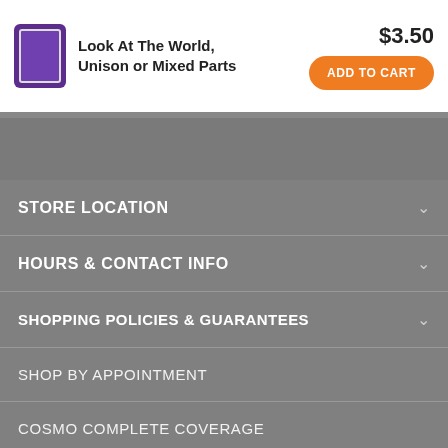[Figure (other): Product thumbnail for 'Look At The World, Unison or Mixed Parts' — purple book/sheet music cover]
Look At The World, Unison or Mixed Parts
$3.50
ADD TO CART
STORE LOCATION
HOURS & CONTACT INFO
SHOPPING POLICIES & GUARANTEES
SHOP BY APPOINTMENT
COSMO COMPLETE COVERAGE
FINANCING